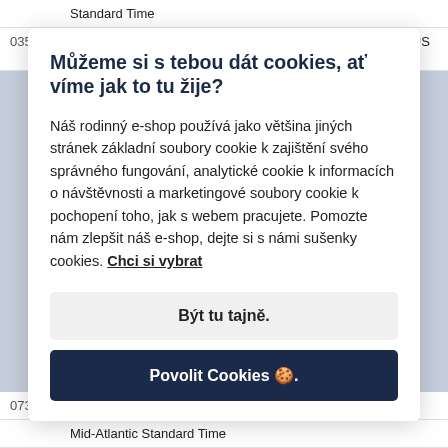|  | Standard Time |  |
| 035 | Eastern Standard Time | (GMT-05:00) Eastern Time (US and Canada) |
Můžeme si s tebou dát cookies, ať víme jak to tu žije?
Náš rodinný e-shop používá jako většina jiných stránek základní soubory cookie k zajištění svého správného fungování, analytické cookie k informacích o návštěvnosti a marketingové soubory cookie k pochopení toho, jak s webem pracujete. Pomozte nám zlepšit náš e-shop, dejte si s námi sušenky cookies. Chci si vybrat
Být tu tajně.
Povolit Cookies 🍪.
| 073 | Greenland Standard Time | (GMT-03:00) Greenland |
|  | Mid-Atlantic Standard Time |  |